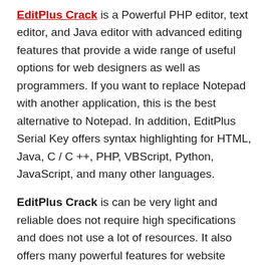EditPlus Crack is a Powerful PHP editor, text editor, and Java editor with advanced editing features that provide a wide range of useful options for web designers as well as programmers. If you want to replace Notepad with another application, this is the best alternative to Notepad. In addition, EditPlus Serial Key offers syntax highlighting for HTML, Java, C / C ++, PHP, VBScript, Python, JavaScript, and many other languages.
EditPlus Crack is can be very light and reliable does not require high specifications and does not use a lot of resources. It also offers many powerful features for website writers and developers. Provides HTML, PHP, Java, C, C ++, Javascript, VBScript, Python, and Ruby on Rails markup. It also includes tools like Hex Viewer, HTML toolbar, user tools, ruler, URL highlighting, efficient